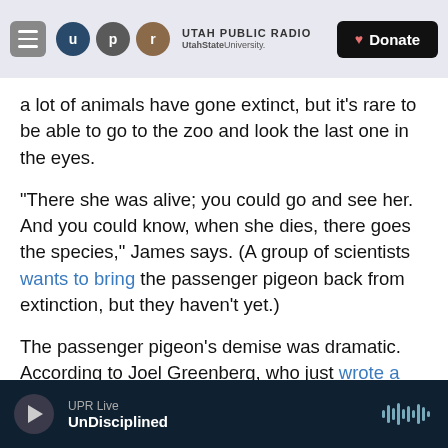Utah Public Radio — UtahState University — Donate
a lot of animals have gone extinct, but it's rare to be able to go to the zoo and look the last one in the eyes.
"There she was alive; you could go and see her. And you could know, when she dies, there goes the species," James says. (A group of scientists wants to bring the passenger pigeon back from extinction, but they haven't yet.)
The passenger pigeon's demise was dramatic. According to Joel Greenberg, who just wrote a book about it, their flocks used to darken the skies of
UPR Live — UnDisciplined